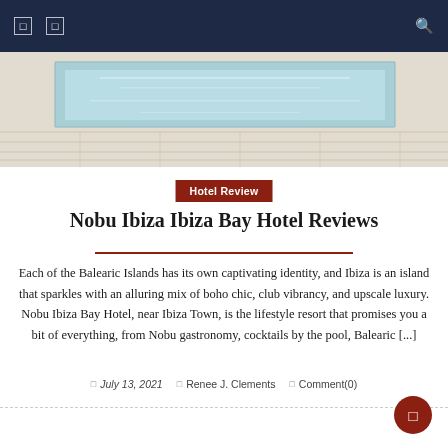Navigation bar with menu icons and search
[Figure (photo): Overhead view of a swimming pool with light blue water and white deck/tiles at a luxury hotel]
Hotel Review
Nobu Ibiza Ibiza Bay Hotel Reviews
Each of the Balearic Islands has its own captivating identity, and Ibiza is an island that sparkles with an alluring mix of boho chic, club vibrancy, and upscale luxury. Nobu Ibiza Bay Hotel, near Ibiza Town, is the lifestyle resort that promises you a bit of everything, from Nobu gastronomy, cocktails by the pool, Balearic [...]
July 13, 2021   Renee J. Clements   Comment(0)